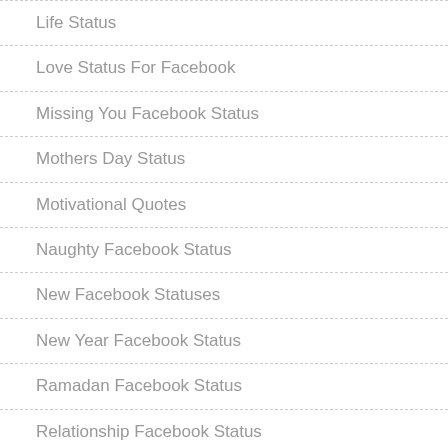Life Status
Love Status For Facebook
Missing You Facebook Status
Mothers Day Status
Motivational Quotes
Naughty Facebook Status
New Facebook Statuses
New Year Facebook Status
Ramadan Facebook Status
Relationship Facebook Status